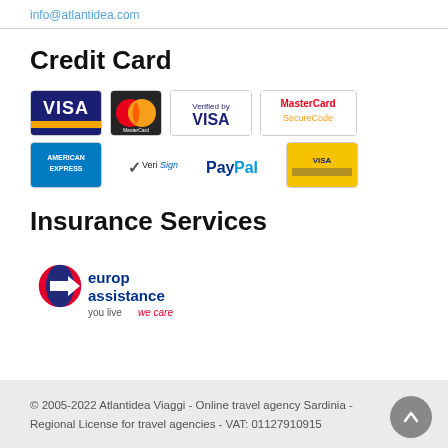info@atlantidea.com
Credit Card
[Figure (logo): Payment method logos: Visa, MasterCard, Verified by Visa, MasterCard SecureCode, American Express, VeriSign, PayPal, Visa Debit]
Insurance Services
[Figure (logo): Europ Assistance logo - you live we care]
© 2005-2022 Atlantidea Viaggi - Online travel agency Sardinia - Regional License for travel agencies - VAT: 01127910915